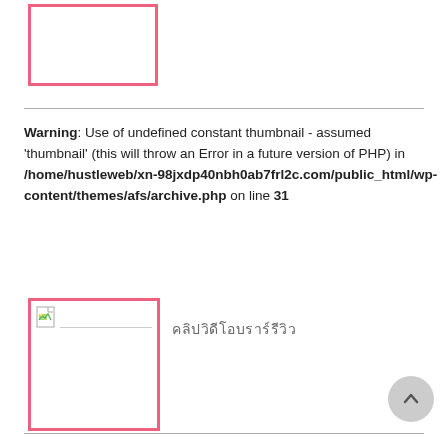[Figure (other): Pink-bordered empty image placeholder box at top left]
Warning: Use of undefined constant thumbnail - assumed 'thumbnail' (this will throw an Error in a future version of PHP) in /home/hustleweb/xn--98jxdp40nbh0ab7frl2c.com/public_html/wp-content/themes/afs/archive.php on line 31
[Figure (other): Pink-bordered image box with broken image icon and Thai text to the right]